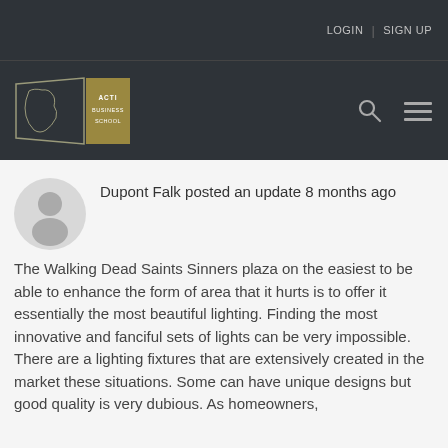LOGIN | SIGN UP
[Figure (logo): ACTI Business School logo with Africa map outline on dark background]
Dupont Falk posted an update 8 months ago
The Walking Dead Saints Sinners plaza on the easiest to be able to enhance the form of area that it hurts is to offer it essentially the most beautiful lighting. Finding the most innovative and fanciful sets of lights can be very impossible. There are a lighting fixtures that are extensively created in the market these situations. Some can have unique designs but good quality is very dubious. As homeowners,